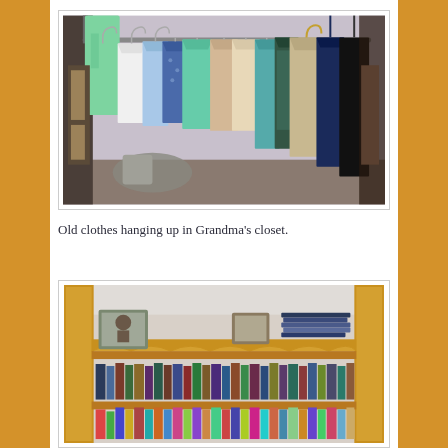[Figure (photo): Photo of old clothes hanging on a rod in Grandma's closet. Various garments in green, teal, white, blue, beige, and dark navy colors hang on multiple hangers.]
Old clothes hanging up in Grandma's closet.
[Figure (photo): Photo of a wooden bookshelf filled with books and some framed photos visible on the shelves.]